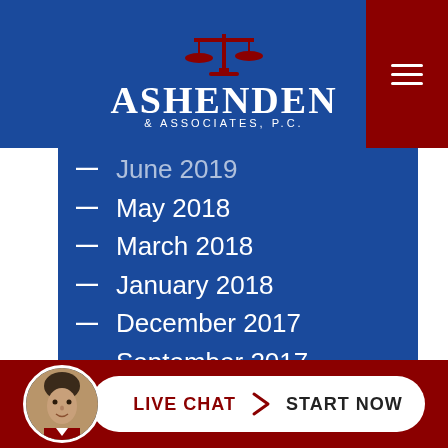[Figure (logo): Ashenden & Associates P.C. law firm logo with scales of justice icon on blue background]
June 2019
May 2018
March 2018
January 2018
December 2017
September 2017
August 2017
May 2017
March 2017
February 2017
January 2017
[Figure (infographic): Live Chat Start Now button with attorney avatar photo in circular frame]